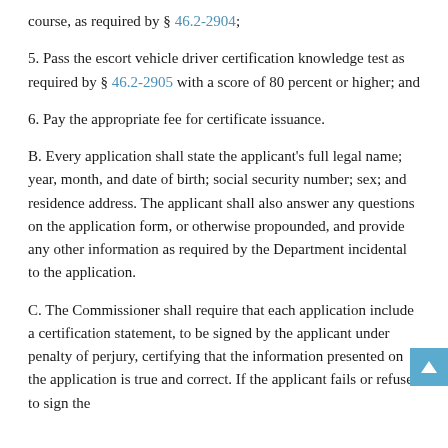course, as required by § 46.2-2904;
5. Pass the escort vehicle driver certification knowledge test as required by § 46.2-2905 with a score of 80 percent or higher; and
6. Pay the appropriate fee for certificate issuance.
B. Every application shall state the applicant's full legal name; year, month, and date of birth; social security number; sex; and residence address. The applicant shall also answer any questions on the application form, or otherwise propounded, and provide any other information as required by the Department incidental to the application.
C. The Commissioner shall require that each application include a certification statement, to be signed by the applicant under penalty of perjury, certifying that the information presented on the application is true and correct. If the applicant fails or refuses to sign the